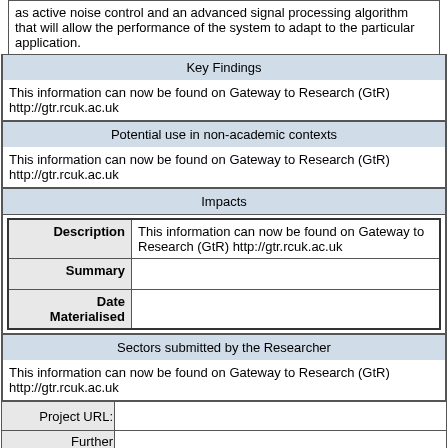as active noise control and an advanced signal processing algorithm that will allow the performance of the system to adapt to the particular application.
| Key Findings |
| --- |
| This information can now be found on Gateway to Research (GtR) http://gtr.rcuk.ac.uk |
| Potential use in non-academic contexts |
| --- |
| This information can now be found on Gateway to Research (GtR) http://gtr.rcuk.ac.uk |
| Impacts |
| --- |
| Description | This information can now be found on Gateway to Research (GtR) http://gtr.rcuk.ac.uk |
| Summary |  |
| Date Materialised |  |
| Sectors submitted by the Researcher |
| --- |
| This information can now be found on Gateway to Research (GtR) http://gtr.rcuk.ac.uk |
| Project URL: | Further Information: | Organisation Website: |
| --- | --- | --- |
|  |  | http://www.soton.ac.uk |